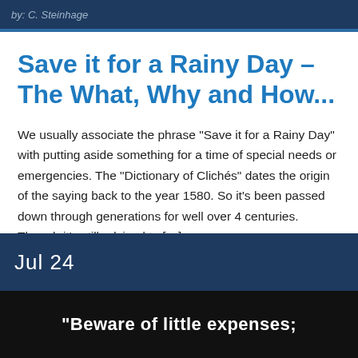by: C. Steinhage
Save it for a Rainy Day – The What, Why and How...
We usually associate the phrase “Save it for a Rainy Day” with putting aside something for a time of special needs or emergencies.  The “Dictionary of Clichés” dates the origin of the saying back to the year 1580.  So it’s been passed down through generations for well over 4 centuries.  Though it’s still advised to […]
Jul 24
[Figure (photo): Dark image strip with white bold text reading: "Beware of little expenses;"]